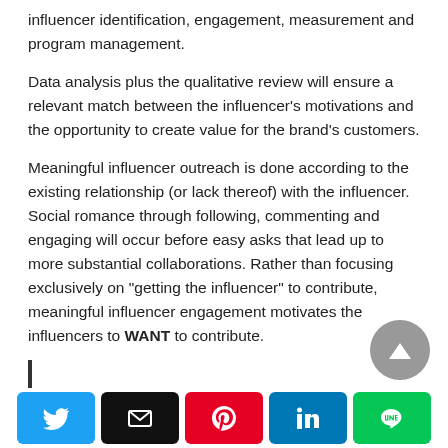influencer identification, engagement, measurement and program management.
Data analysis plus the qualitative review will ensure a relevant match between the influencer’s motivations and the opportunity to create value for the brand’s customers.
Meaningful influencer outreach is done according to the existing relationship (or lack thereof) with the influencer. Social romance through following, commenting and engaging will occur before easy asks that lead up to more substantial collaborations. Rather than focusing exclusively on “getting the influencer” to contribute, meaningful influencer engagement motivates the influencers to WANT to contribute.
[Figure (other): Social sharing bar with Twitter, Email, Pinterest, LinkedIn, and LINE buttons]